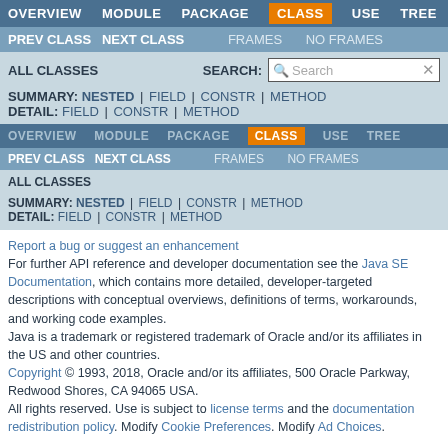OVERVIEW  MODULE  PACKAGE  CLASS  USE  TREE
PREV CLASS  NEXT CLASS  FRAMES  NO FRAMES
ALL CLASSES  SEARCH:
SUMMARY: NESTED | FIELD | CONSTR | METHOD
DETAIL: FIELD | CONSTR | METHOD
OVERVIEW  MODULE  PACKAGE  CLASS  USE  TREE
PREV CLASS  NEXT CLASS  FRAMES  NO FRAMES
ALL CLASSES
SUMMARY: NESTED | FIELD | CONSTR | METHOD
DETAIL: FIELD | CONSTR | METHOD
Report a bug or suggest an enhancement
For further API reference and developer documentation see the Java SE Documentation, which contains more detailed, developer-targeted descriptions with conceptual overviews, definitions of terms, workarounds, and working code examples.
Java is a trademark or registered trademark of Oracle and/or its affiliates in the US and other countries.
Copyright © 1993, 2018, Oracle and/or its affiliates, 500 Oracle Parkway, Redwood Shores, CA 94065 USA.
All rights reserved. Use is subject to license terms and the documentation redistribution policy. Modify Cookie Preferences. Modify Ad Choices.